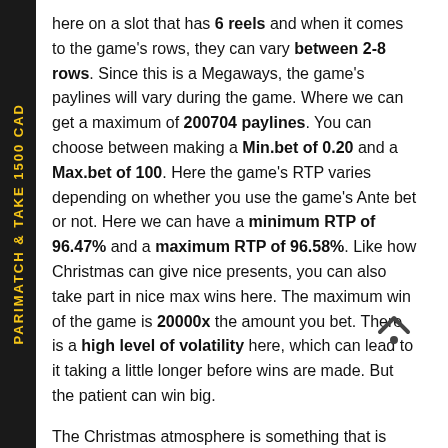here on a slot that has 6 reels and when it comes to the game's rows, they can vary between 2-8 rows. Since this is a Megaways, the game's paylines will vary during the game. Where we can get a maximum of 200704 paylines. You can choose between making a Min.bet of 0.20 and a Max.bet of 100. Here the game's RTP varies depending on whether you use the game's Ante bet or not. Here we can have a minimum RTP of 96.47% and a maximum RTP of 96.58%. Like how Christmas can give nice presents, you can also take part in nice max wins here. The maximum win of the game is 20000x the amount you bet. There is a high level of volatility here, which can lead to it taking a little longer before wins are made. But the patient can win big.
The Christmas atmosphere is something that is difficult to avoid now, as more and more Christmas decorations
[Figure (other): Up arrow / back-to-top icon]